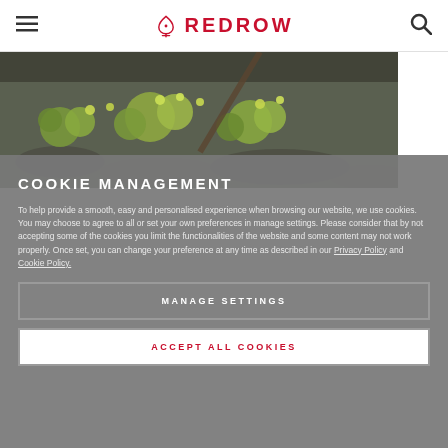REDROW
[Figure (photo): Close-up photo of green succulent plants and grey stone/gravel background]
COOKIE MANAGEMENT
To help provide a smooth, easy and personalised experience when browsing our website, we use cookies. You may choose to agree to all or set your own preferences in manage settings. Please consider that by not accepting some of the cookies you limit the functionalities of the website and some content may not work properly. Once set, you can change your preference at any time as described in our Privacy Policy and Cookie Policy.
MANAGE SETTINGS
ACCEPT ALL COOKIES